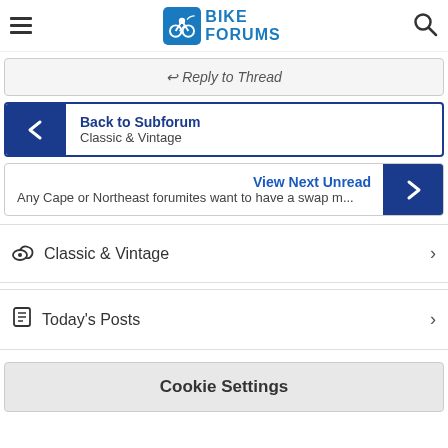Bike Forums
↩ Reply to Thread
Back to Subforum — Classic & Vintage
View Next Unread — Any Cape or Northeast forumites want to have a swap m...
Classic & Vintage
Today's Posts
Cookie Settings